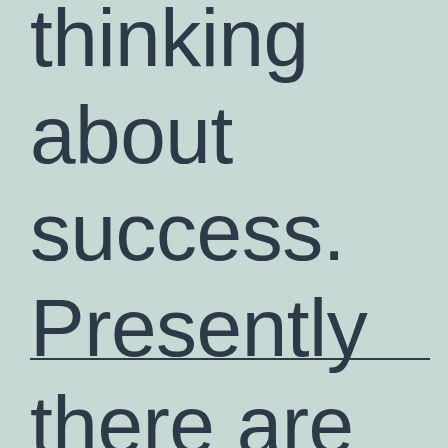thinking about success. Presently there are people who
———